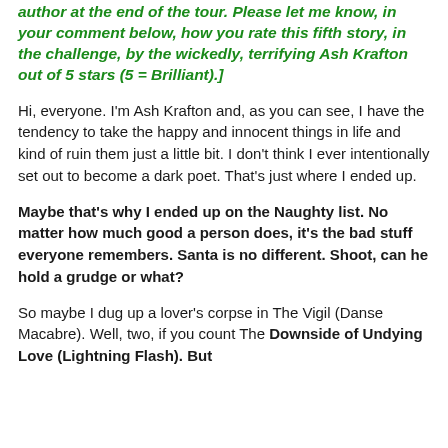author at the end of the tour. Please let me know, in your comment below, how you rate this fifth story, in the challenge, by the wickedly, terrifying Ash Krafton out of 5 stars (5 = Brilliant).]
Hi, everyone. I'm Ash Krafton and, as you can see, I have the tendency to take the happy and innocent things in life and kind of ruin them just a little bit. I don't think I ever intentionally set out to become a dark poet. That's just where I ended up.
Maybe that's why I ended up on the Naughty list. No matter how much good a person does, it's the bad stuff everyone remembers. Santa is no different. Shoot, can he hold a grudge or what?
So maybe I dug up a lover's corpse in The Vigil (Danse Macabre). Well, two, if you count The Downside of Undying Love (Lightning Flash). But